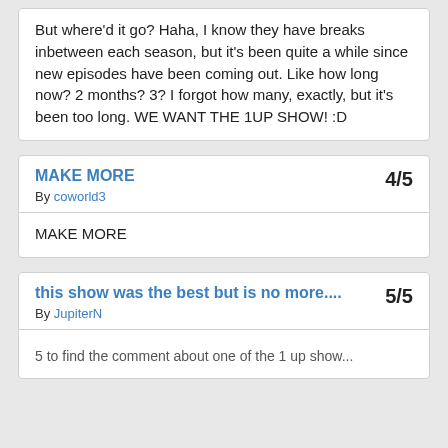But where'd it go? Haha, I know they have breaks inbetween each season, but it's been quite a while since new episodes have been coming out. Like how long now? 2 months? 3? I forgot how many, exactly, but it's been too long. WE WANT THE 1UP SHOW! :D
MAKE MORE
4/5  By coworld3
MAKE MORE
this show was the best but is no more....
5/5  By JupiterN
5 to find the comment about one of the 1 up show...